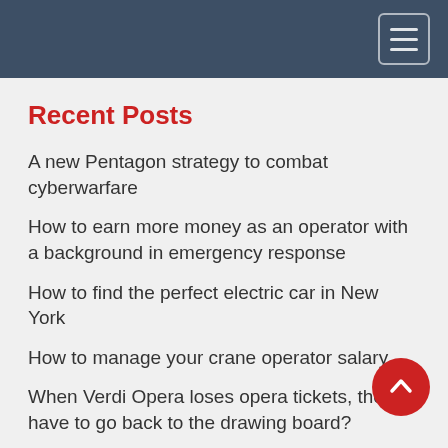Navigation header bar with hamburger menu
Recent Posts
A new Pentagon strategy to combat cyberwarfare
How to earn more money as an operator with a background in emergency response
How to find the perfect electric car in New York
How to manage your crane operator salary
When Verdi Opera loses opera tickets, they have to go back to the drawing board?